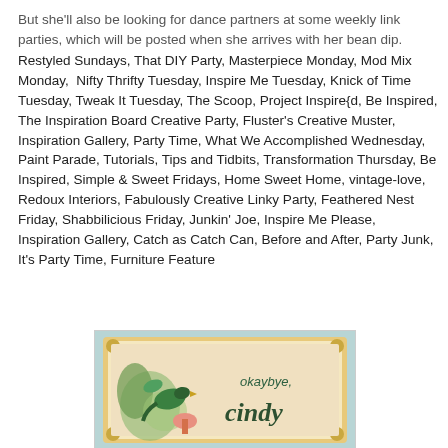But she'll also be looking for dance partners at some weekly link parties, which will be posted when she arrives with her bean dip.
Restyled Sundays, That DIY Party, Masterpiece Monday, Mod Mix Monday, Nifty Thrifty Tuesday, Inspire Me Tuesday, Knick of Time Tuesday, Tweak It Tuesday, The Scoop, Project Inspire{d, Be Inspired, The Inspiration Board Creative Party, Fluster's Creative Muster, Inspiration Gallery, Party Time, What We Accomplished Wednesday, Paint Parade, Tutorials, Tips and Tidbits, Transformation Thursday, Be Inspired, Simple & Sweet Fridays, Home Sweet Home, vintage-love, Redoux Interiors, Fabulously Creative Linky Party, Feathered Nest Friday, Shabbilicious Friday, Junkin' Joe, Inspire Me Please, Inspiration Gallery, Catch as Catch Can, Before and After, Party Junk, It's Party Time, Furniture Feature
[Figure (illustration): Vintage-style illustrated card with birds and foliage, text reading 'okaybye, cindy' in decorative script, with a gold ornate border on a light teal background.]